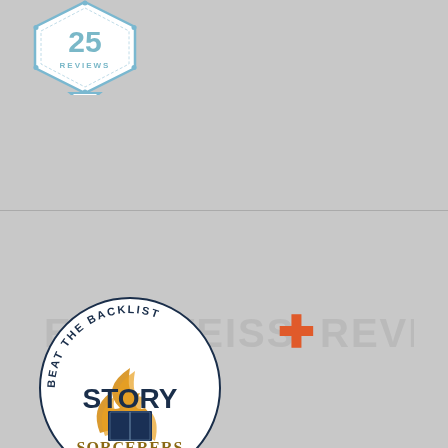[Figure (logo): Hexagonal badge with '25 REVIEWS' text in teal/blue on white background with decorative border]
[Figure (logo): Edelweiss+ Reviewer badge/watermark text in gray with orange plus sign]
[Figure (logo): Story Sorcerers 'Beat the Backlist' circular challenge badge with book and flame illustration in navy and gold]